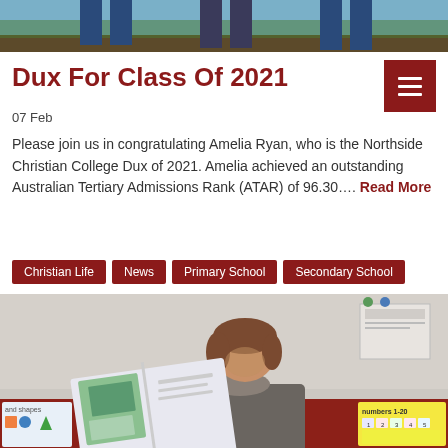[Figure (photo): Top portion of an outdoor photo, showing legs of people standing near a tree or garden area]
Dux For Class Of 2021
07 Feb
Please join us in congratulating Amelia Ryan, who is the Northside Christian College Dux of 2021. Amelia achieved an outstanding Australian Tertiary Admissions Rank (ATAR) of 96.30…. Read More
Christian Life
News
Primary School
Secondary School
[Figure (photo): A teacher or staff member sitting in a classroom reading a picture book, with educational posters visible in the background]